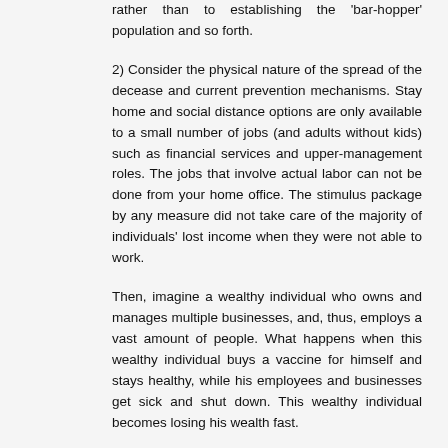rather than to establishing the 'bar-hopper' population and so forth.
2) Consider the physical nature of the spread of the decease and current prevention mechanisms. Stay home and social distance options are only available to a small number of jobs (and adults without kids) such as financial services and upper-management roles. The jobs that involve actual labor can not be done from your home office. The stimulus package by any measure did not take care of the majority of individuals' lost income when they were not able to work.
Then, imagine a wealthy individual who owns and manages multiple businesses, and, thus, employs a vast amount of people. What happens when this wealthy individual buys a vaccine for himself and stays healthy, while his employees and businesses get sick and shut down. This wealthy individual becomes losing his wealth fast.